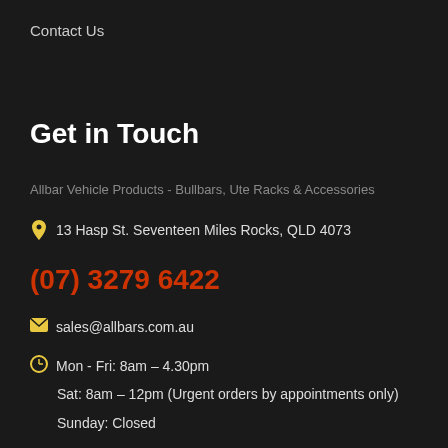Contact Us
Get in Touch
Allbar Vehicle Products - Bullbars, Ute Racks & Accessories
13 Hasp St. Seventeen Miles Rocks, QLD 4073
(07) 3279 6422
sales@allbars.com.au
Mon - Fri: 8am – 4.30pm
Sat: 8am – 12pm (Urgent orders by appointments only)
Sunday: Closed